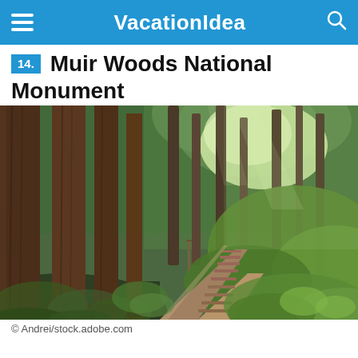VacationIdea
14. Muir Woods National Monument
[Figure (photo): A forest path with wooden steps winding through tall redwood trees with lush green undergrowth and moss-covered hillside at Muir Woods National Monument.]
© Andrei/stock.adobe.com